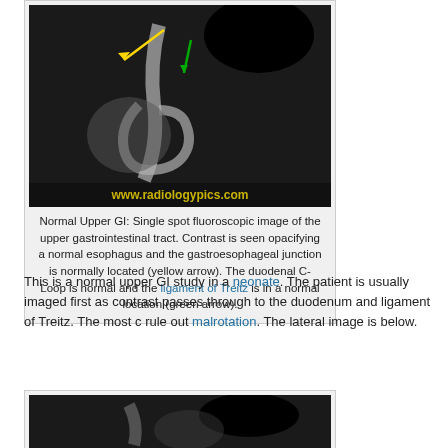[Figure (photo): Fluoroscopic upper GI image showing contrast opacifying the esophagus and duodenal C-loop with yellow and green arrows annotated. Watermark: www.radiologypics.com]
Normal Upper GI: Single spot fluoroscopic image of the upper gastrointestinal tract. Contrast is seen opacifying a normal esophagus and the gastroesophageal junction is normally located (yellow arrow). The duodenal C-Loop is normal and the ligament of Treitz is in a normal location (green arrow).
This is a normal upper GI study in a neonate. The patient is usually imaged first as contrast passes through to the duodenum and ligament of Treitz. The most c rule out malrotation. The lateral image is below.
[Figure (photo): Partial view of a second fluoroscopic image (lateral view), cropped at bottom of page.]